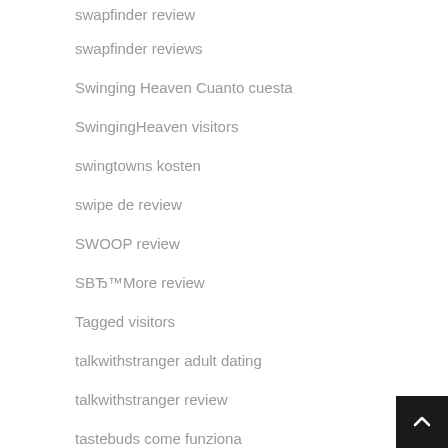swapfinder review
swapfinder reviews
Swinging Heaven Cuanto cuesta
SwingingHeaven visitors
swingtowns kosten
swipe de review
SWOOP review
SBЂ™More review
Tagged visitors
talkwithstranger adult dating
talkwithstranger review
tastebuds come funziona
Tattoo Dating visitors
TeenChat review